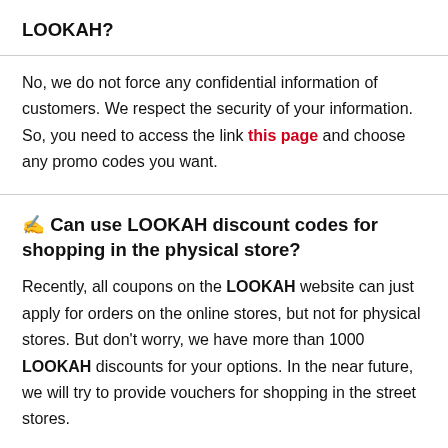LOOKAH?
No, we do not force any confidential information of customers. We respect the security of your information. So, you need to access the link this page and choose any promo codes you want.
✍ Can use LOOKAH discount codes for shopping in the physical store?
Recently, all coupons on the LOOKAH website can just apply for orders on the online stores, but not for physical stores. But don't worry, we have more than 1000 LOOKAH discounts for your options. In the near future, we will try to provide vouchers for shopping in the street stores.